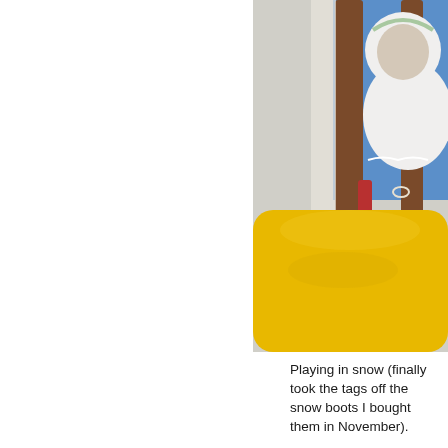[Figure (photo): A baby or toddler in a white hoodie sitting in a high chair with a yellow tray. Visible are wooden chair slats, a blue background, and red straps. The yellow tray dominates the lower portion of the image.]
Playing in snow (finally took the tags off the snow boots I bought them in November).